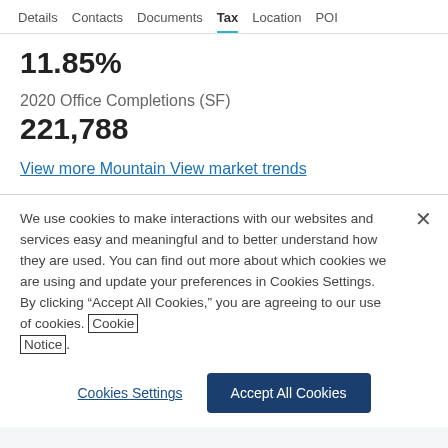Details  Contacts  Documents  Tax  Location  POI
11.85%
2020 Office Completions (SF)
221,788
View more Mountain View market trends
We use cookies to make interactions with our websites and services easy and meaningful and to better understand how they are used. You can find out more about which cookies we are using and update your preferences in Cookies Settings. By clicking “Accept All Cookies,” you are agreeing to our use of cookies. Cookie Notice.
Cookies Settings
Accept All Cookies